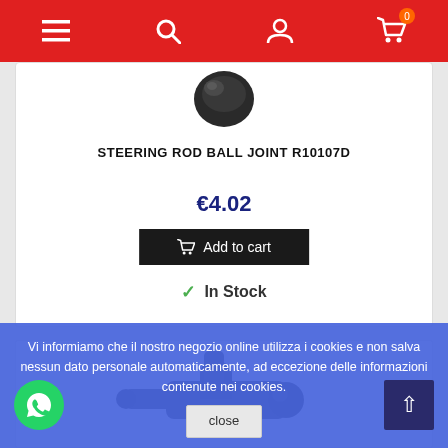[Figure (screenshot): Navigation bar with hamburger menu, search, user account, and cart (0) icons on red background]
[Figure (photo): Steering rod ball joint part photo - dark metallic component on white background (top portion visible)]
STEERING ROD BALL JOINT R10107D
€4.02
Add to cart
In Stock
[Figure (photo): Second automotive part photo - dark angular bracket/joint component on white background]
Vi informiamo che il nostro negozio online utilizza i cookies e non salva nessun dato personale automaticamente, ad eccezione delle informazioni contenute nei cookies.
close